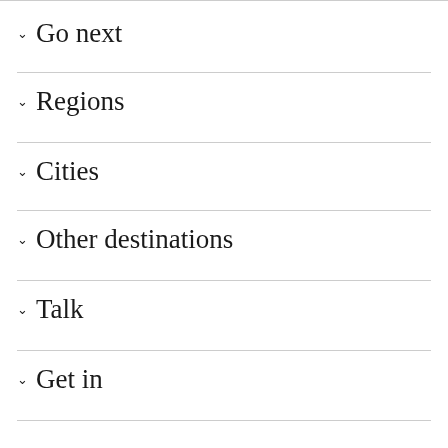Go next
Regions
Cities
Other destinations
Talk
Get in